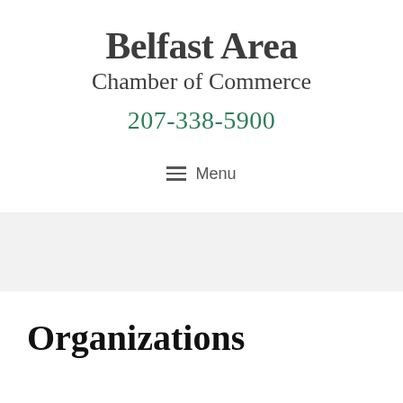Belfast Area Chamber of Commerce
207-338-5900
≡ Menu
Organizations